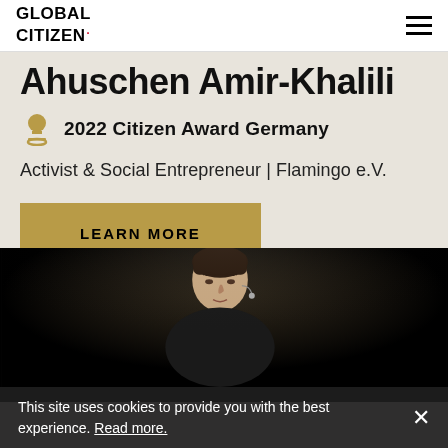GLOBAL CITIZEN.
Ahuschen Amir-Khalili
2022 Citizen Award Germany
Activist & Social Entrepreneur | Flamingo e.V.
LEARN MORE
[Figure (photo): Portrait of Ahuschen Amir-Khalili on a dark stage with a microphone headset, short dark hair, looking upward, dramatic dark background lighting.]
This site uses cookies to provide you with the best experience. Read more.